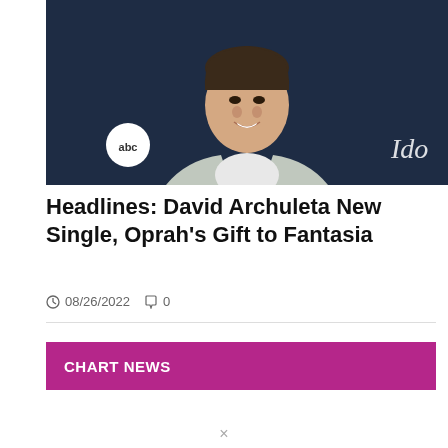[Figure (photo): A young man smiling, wearing a light grey zip-up jacket over a white t-shirt, standing in front of a dark navy background with ABC logo and partial 'Idol' text visible]
Headlines: David Archuleta New Single, Oprah's Gift to Fantasia
08/26/2022  0
CHART NEWS